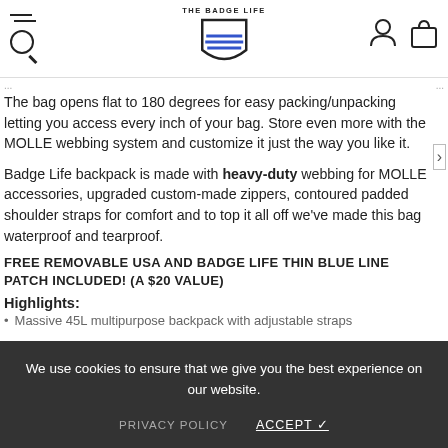The Badge Life
The bag opens flat to 180 degrees for easy packing/unpacking letting you access every inch of your bag. Store even more with the MOLLE webbing system and customize it just the way you like it.
Badge Life backpack is made with heavy-duty webbing for MOLLE accessories, upgraded custom-made zippers, contoured padded shoulder straps for comfort and to top it all off we've made this bag waterproof and tearproof.
FREE REMOVABLE USA AND BADGE LIFE THIN BLUE LINE PATCH INCLUDED! (a $20 Value)
Highlights:
Massive 45L multipurpose backpack with adjustable straps
We use cookies to ensure that we give you the best experience on our website.